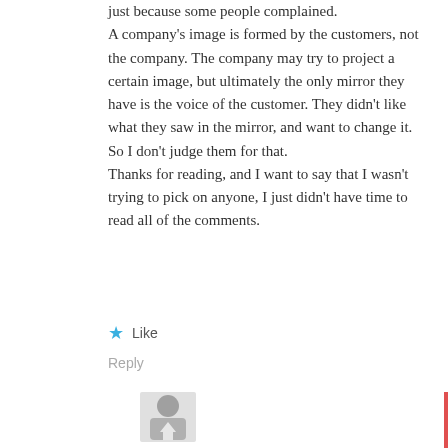just because some people complained. A company's image is formed by the customers, not the company. The company may try to project a certain image, but ultimately the only mirror they have is the voice of the customer. They didn't like what they saw in the mirror, and want to change it. So I don't judge them for that. Thanks for reading, and I want to say that I wasn't trying to pick on anyone, I just didn't have time to read all of the comments.
Like
Reply
[Figure (photo): User avatar thumbnail showing a partial silhouette or profile image]